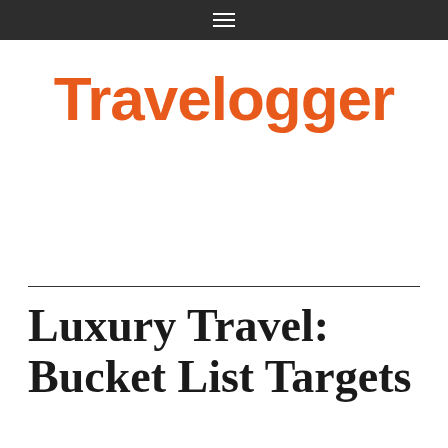≡
[Figure (logo): Travelogger logo in orange bold text]
Luxury Travel: Bucket List Targets